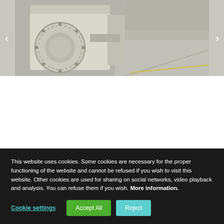[Figure (photo): Industrial machinery photograph showing a large white mechanical device with circular bolt-pattern flanges, inside a factory/warehouse with concrete floor. Navigation arrows visible on left and right sides.]
This website uses cookies. Some cookies are necessary for the proper functioning of the website and cannot be refused if you wish to visit this website. Other cookies are used for sharing on social networks, video playback and analysis. You can refuse them if you wish. More information.
Cookie settings
Accept All
Reject